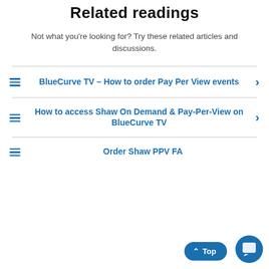Related readings
Not what you're looking for? Try these related articles and discussions.
BlueCurve TV – How to order Pay Per View events
How to access Shaw On Demand & Pay-Per-View on BlueCurve TV
Order Shaw PPV FA…